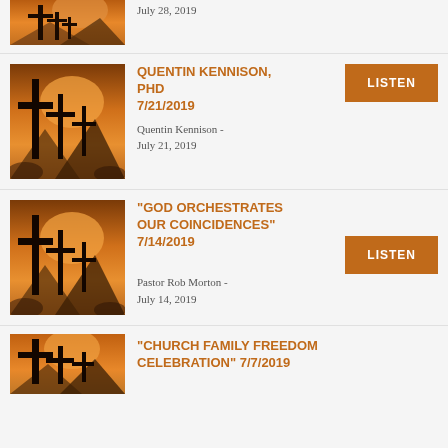[Figure (photo): Silhouette of three crosses against a warm orange sunset sky, partial view at top of page]
July 28, 2019
[Figure (photo): Silhouette of three crosses against a warm orange sunset sky with mountains]
QUENTIN KENNISON, PHD 7/21/2019
Quentin Kennison - July 21, 2019
[Figure (photo): Silhouette of three crosses against a warm orange sunset sky with mountains]
"GOD ORCHESTRATES OUR COINCIDENCES" 7/14/2019
Pastor Rob Morton - July 14, 2019
[Figure (photo): Silhouette of three crosses against a warm orange sunset sky, partial view at bottom of page]
"CHURCH FAMILY FREEDOM CELEBRATION" 7/7/2019